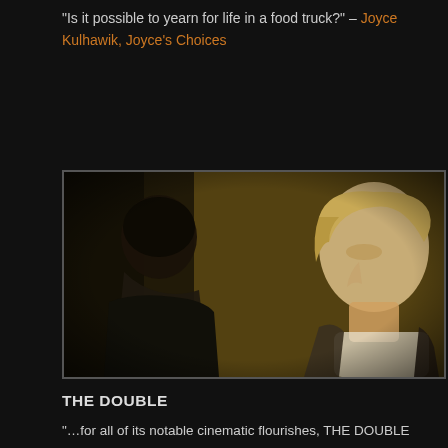“Is it possible to yearn for life in a food truck?” – Joyce Kulhawik, Joyce’s Choices
[Figure (photo): A moody film still showing two male figures in profile against a dim background. One figure faces away with dark hair, while the other (foregrounded) is a pale young man with blonde hair looking slightly downward.]
THE DOUBLE
“…for all of its notable cinematic flourishes, THE DOUBLE is actually the product of one Richard Ayoade, who, in his second directorial effort (after 2010’s SUBMARINE), has managed to take all of those influences, plus a serious